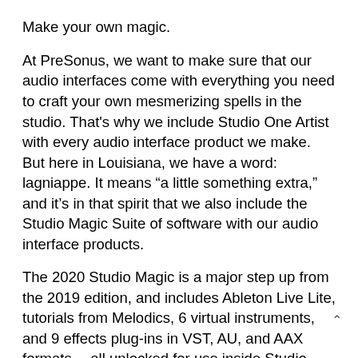Make your own magic.
At PreSonus, we want to make sure that our audio interfaces come with everything you need to craft your own mesmerizing spells in the studio. That's why we include Studio One Artist with every audio interface product we make. But here in Louisiana, we have a word: lagniappe. It means “a little something extra,” and it’s in that spirit that we also include the Studio Magic Suite of software with our audio interface products.
The 2020 Studio Magic is a major step up from the 2019 edition, and includes Ableton Live Lite, tutorials from Melodics, 6 virtual instruments, and 9 effects plug-ins in VST, AU, and AAX formats… all unlocked for use inside Studio One Artist with a retail value of over $1000 (US).
Computer system requirements:
Below are the minimum computer-system requiremen… fo…